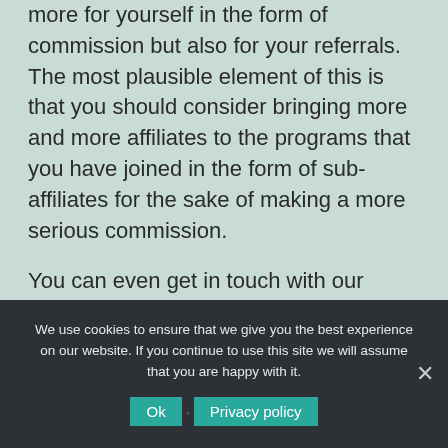more for yourself in the form of commission but also for your referrals. The most plausible element of this is that you should consider bringing more and more affiliates to the programs that you have joined in the form of sub-affiliates for the sake of making a more serious commission.
You can even get in touch with our previous clients in the form of customer testimonials and what not to be able to grab an insight of our service and programs offered. There is even a
We use cookies to ensure that we give you the best experience on our website. If you continue to use this site we will assume that you are happy with it.
Ok · Privacy policy